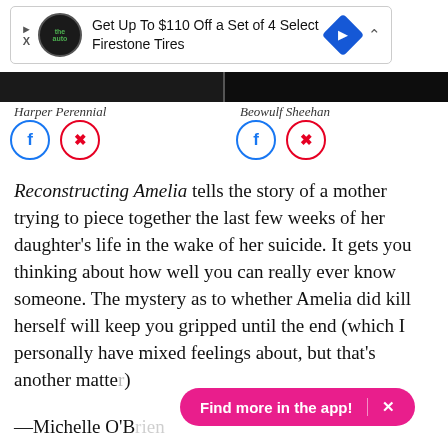[Figure (screenshot): Advertisement banner: 'Get Up To $110 Off a Set of 4 Select Firestone Tires' with auto logo and blue diamond arrow icon]
Harper Perennial
Beowulf Sheehan
[Figure (infographic): Social media share icons: Facebook and Pinterest circles for two images]
Reconstructing Amelia tells the story of a mother trying to piece together the last few weeks of her daughter's life in the wake of her suicide. It gets you thinking about how well you can really ever know someone. The mystery as to whether Amelia did kill herself will keep you gripped until the end (which I personally have mixed feelings about, but that's another matter).
—Michelle O'Brien
[Figure (screenshot): Pink pill-shaped button overlay: 'Find more in the app! | X']